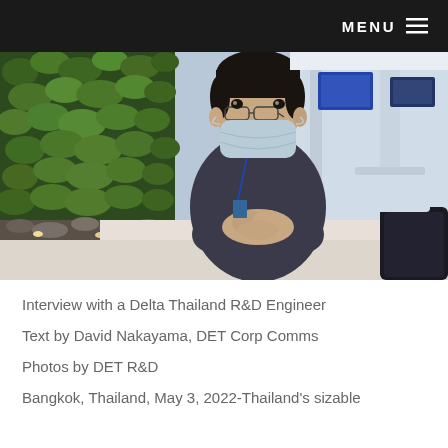MENU
[Figure (photo): A young person wearing a face mask and dark uniform with a lanyard, sitting at a white table with hands clasped, in front of a green plant wall with lighting and a bright office space in the background.]
Interview with a Delta Thailand R&D Engineer
Text by David Nakayama, DET Corp Comms
Photos by DET R&D
Bangkok, Thailand, May 3, 2022-Thailand's sizable